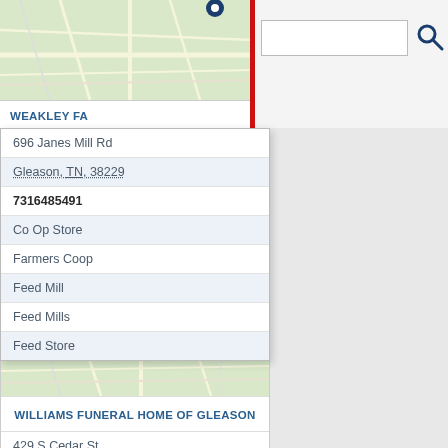[Figure (screenshot): Map thumbnail showing road map with a location pin marker]
WEAKLEY FA
[Figure (screenshot): Search bar with text input field and search icon]
696 Janes Mill Rd
Gleason, TN, 38229
7316485491
Co Op Store
Farmers Coop
Feed Mill
Feed Mills
Feed Store
[Figure (map): Map thumbnail of Gleason TN area with blue location pin marker]
WILLIAMS FUNERAL HOME OF GLEASON
429 S Cedar St
Gleason, TN, 38229
7316485801
Cryer Funeral Home